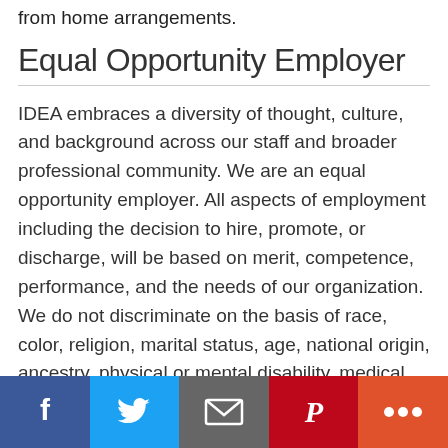from home arrangements.
Equal Opportunity Employer
IDEA embraces a diversity of thought, culture, and background across our staff and broader professional community. We are an equal opportunity employer. All aspects of employment including the decision to hire, promote, or discharge, will be based on merit, competence, performance, and the needs of our organization. We do not discriminate on the basis of race, color, religion, marital status, age, national origin, ancestry, physical or mental disability, medical condition, pregnancy, genetic information, gender, sexual orientation, gender identity or expression,
[Figure (infographic): Social sharing bar with Facebook, Twitter, Email, Pinterest, and More buttons]